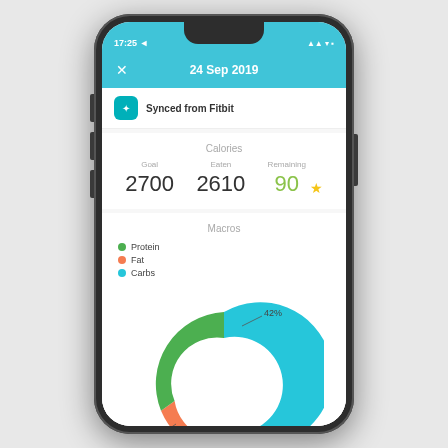[Figure (screenshot): Smartphone screenshot of a nutrition tracking app showing date 24 Sep 2019, synced from Fitbit, calories section with Goal 2700, Eaten 2610, Remaining 90 with a star, Macros section with a donut chart showing Protein 16%, Fat 42%, Carbs 42%]
17:25
24 Sep 2019
Synced from Fitbit
Calories
Goal 2700  Eaten 2610  Remaining 90
Macros
[Figure (donut-chart): Macros]